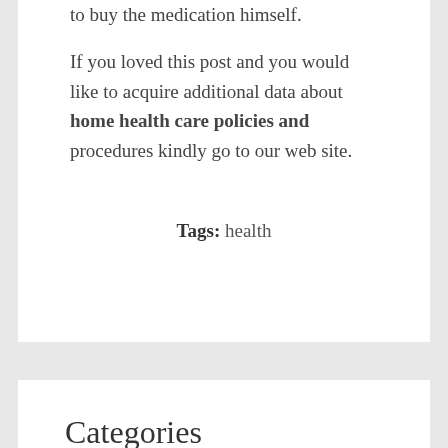to buy the medication himself.
If you loved this post and you would like to acquire additional data about home health care policies and procedures kindly go to our web site.
Tags: health
Categories
Beauty
Breaking News